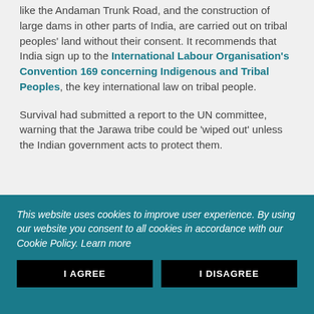The UN report also expressed concern that projects like the Andaman Trunk Road, and the construction of large dams in other parts of India, are carried out on tribal peoples' land without their consent. It recommends that India sign up to the International Labour Organisation's Convention 169 concerning Indigenous and Tribal Peoples, the key international law on tribal people.
Survival had submitted a report to the UN committee, warning that the Jarawa tribe could be 'wiped out' unless the Indian government acts to protect them.
This website uses cookies to improve user experience. By using our website you consent to all cookies in accordance with our Cookie Policy. Learn more